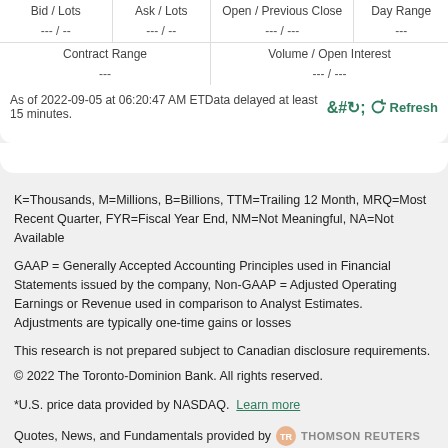| Bid / Lots | Ask / Lots | Open / Previous Close | Day Range |
| --- | --- | --- | --- |
| --- / -- | --- / -- | --- / --- | --- |
| Contract Range | Volume / Open Interest |
| --- | --- |
| --- | --- / --- |
As of 2022-09-05 at 06:20:47 AM ETData delayed at least 15 minutes.
K=Thousands, M=Millions, B=Billions, TTM=Trailing 12 Month, MRQ=Most Recent Quarter, FYR=Fiscal Year End, NM=Not Meaningful, NA=Not Available
GAAP = Generally Accepted Accounting Principles used in Financial Statements issued by the company, Non-GAAP = Adjusted Operating Earnings or Revenue used in comparison to Analyst Estimates. Adjustments are typically one-time gains or losses
This research is not prepared subject to Canadian disclosure requirements.
© 2022 The Toronto-Dominion Bank. All rights reserved.
*U.S. price data provided by NASDAQ.  Learn more
Quotes, News, and Fundamentals provided by  THOMSON REUTERS  View restrictions